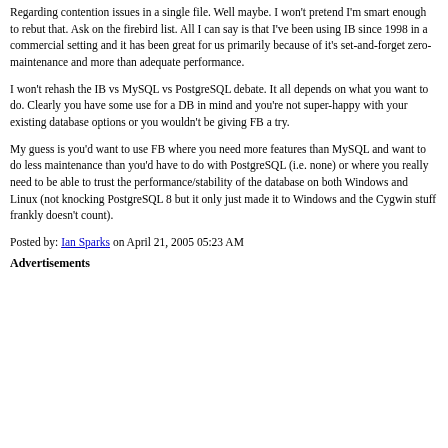Regarding contention issues in a single file. Well maybe. I won't pretend I'm smart enough to rebut that. Ask on the firebird list. All I can say is that I've been using IB since 1998 in a commercial setting and it has been great for us primarily because of it's set-and-forget zero-maintenance and more than adequate performance.
I won't rehash the IB vs MySQL vs PostgreSQL debate. It all depends on what you want to do. Clearly you have some use for a DB in mind and you're not super-happy with your existing database options or you wouldn't be giving FB a try.
My guess is you'd want to use FB where you need more features than MySQL and want to do less maintenance than you'd have to do with PostgreSQL (i.e. none) or where you really need to be able to trust the performance/stability of the database on both Windows and Linux (not knocking PostgreSQL 8 but it only just made it to Windows and the Cygwin stuff frankly doesn't count).
Posted by: Ian Sparks on April 21, 2005 05:23 AM
Advertisements